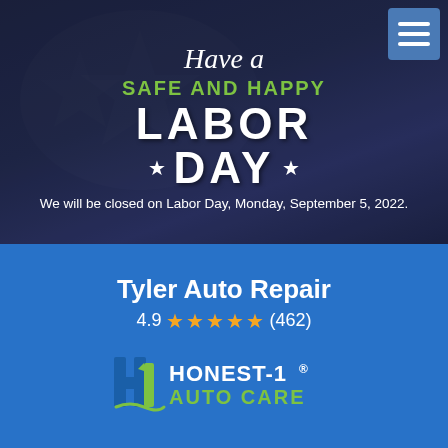[Figure (infographic): Labor Day holiday banner on dark navy background with American flag silhouette. Text: 'Have a SAFE AND HAPPY LABOR DAY ★ DAY ★'. Subtext: 'We will be closed on Labor Day, Monday, September 5, 2022.']
Tyler Auto Repair
4.9 ★★★★★ (462)
[Figure (logo): Honest-1 Auto Care logo in white and green on blue background]